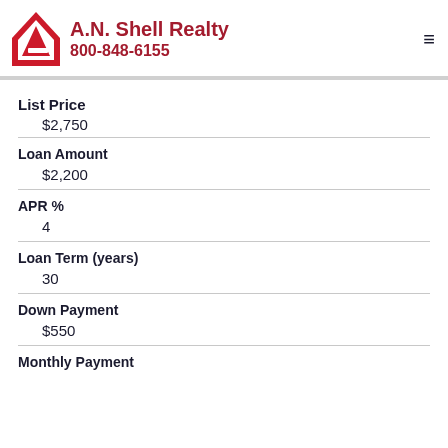A.N. Shell Realty 800-848-6155
List Price
$2,750
Loan Amount
$2,200
APR %
4
Loan Term (years)
30
Down Payment
$550
Monthly Payment